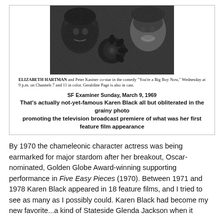[Figure (photo): Black and white newspaper photo showing Elizabeth Hartman, Karen Black (partially obscured), and Peter Kastner]
ELIZABETH HARTMAN and Peter Kastner co-star in the comedy "You're a Big Boy Now," Wednesday at 9 p.m. on Channels 7 and 11 in color. Geraldine Page is also in cast.
SF Examiner Sunday, March 9, 1969
That's actually not-yet-famous Karen Black all but obliterated in the grainy photo
promoting the television broadcast premiere of what was her first feature film appearance
By 1970 the chameleonic character actress was being earmarked for major stardom after her breakout, Oscar-nominated, Golden Globe Award-winning supporting performance in Five Easy Pieces (1970). Between 1971 and 1978 Karen Black appeared in 18 feature films, and I tried to see as many as I possibly could. Karen Black had become my new favorite...a kind of Stateside Glenda Jackson when it